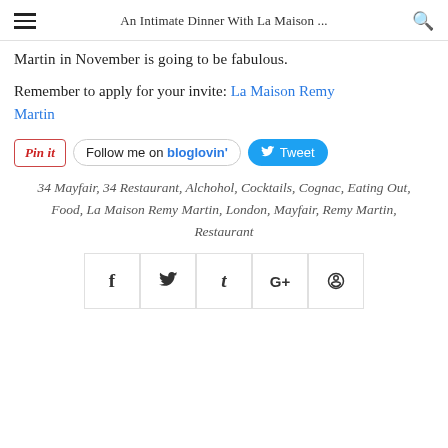An Intimate Dinner With La Maison ...
Martin in November is going to be fabulous.
Remember to apply for your invite: La Maison Remy Martin
[Figure (other): Social sharing buttons: Pin it (Pinterest), Follow me on bloglovin', Tweet (Twitter)]
34 Mayfair, 34 Restaurant, Alchohol, Cocktails, Cognac, Eating Out, Food, La Maison Remy Martin, London, Mayfair, Remy Martin, Restaurant
[Figure (other): Social media share icon buttons: Facebook (f), Twitter (bird), Tumblr (t), Google+ (G+), Pinterest (P)]